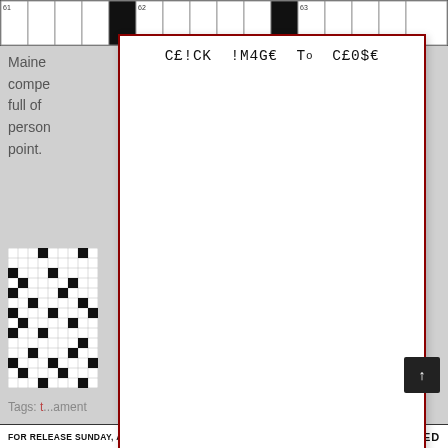[Figure (other): Top portion of a crossword puzzle grid showing row with clue numbers 61, 62, 63 and black squares]
[Figure (screenshot): Modal popup overlay with monospace text 'C£!CK !M4G€ To C£0$€' and dark red border covering most of the page content]
Maine ... ibly compe... s are full of ... ry person... num point.
[Figure (other): Thumbnail image of a crossword puzzle grid with black and white squares]
Tags: ... ament
Sur...
April 2...
FOR RELEASE SUNDAY, AUG. 1, 2010   CONCEALED